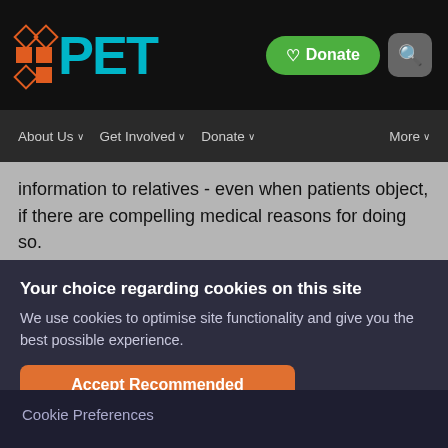[Figure (screenshot): PET website logo: teal PET text with colorful grid icon on black background, green Donate button and search icon in top right]
About Us   Get Involved   Donate   More
information to relatives - even when patients object, if there are compelling medical reasons for doing so.
Your choice regarding cookies on this site
We use cookies to optimise site functionality and give you the best possible experience.
Accept Recommended Settings
Cookie Preferences